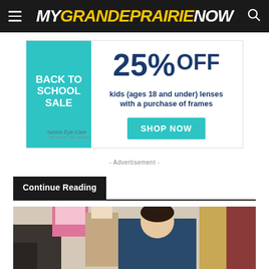MY GRANDE PRAIRIE NOW
[Figure (photo): Aurora Eye Care back-to-school advertisement: 25% OFF kids (ages 18 and under) lenses with a purchase of frames. Shop Now button.]
- Advertisement -
Continue Reading
[Figure (photo): Photo of people working around a table in what appears to be a classroom or workshop setting. A young man in the foreground looking down at something on the table.]